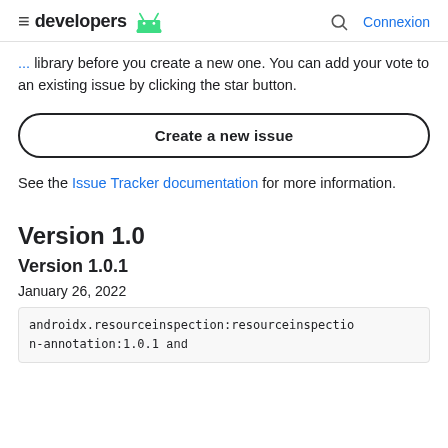developers [android logo] | Connexion
library before you create a new one. You can add your vote to an existing issue by clicking the star button.
Create a new issue
See the Issue Tracker documentation for more information.
Version 1.0
Version 1.0.1
January 26, 2022
androidx.resourceinspection:resourceinspection-annotation:1.0.1 and